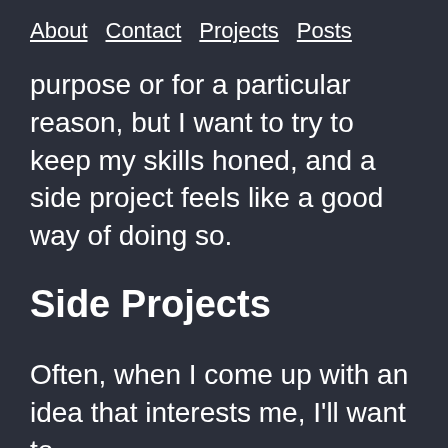About  Contact  Projects  Posts
purpose or for a particular reason, but I want to try to keep my skills honed, and a side project feels like a good way of doing so.
Side Projects
Often, when I come up with an idea that interests me, I'll want to